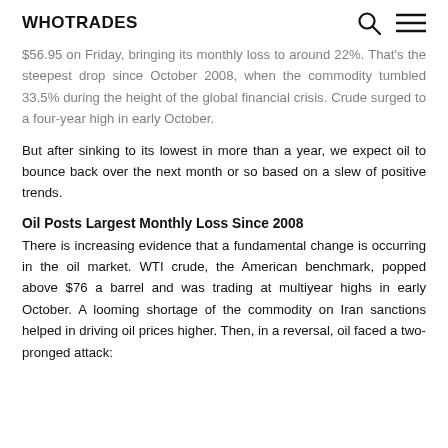WHOTRADES
$56.95 on Friday, bringing its monthly loss to around 22%. That's the steepest drop since October 2008, when the commodity tumbled 33.5% during the height of the global financial crisis. Crude surged to a four-year high in early October.
But after sinking to its lowest in more than a year, we expect oil to bounce back over the next month or so based on a slew of positive trends.
Oil Posts Largest Monthly Loss Since 2008
There is increasing evidence that a fundamental change is occurring in the oil market. WTI crude, the American benchmark, popped above $76 a barrel and was trading at multiyear highs in early October. A looming shortage of the commodity on Iran sanctions helped in driving oil prices higher. Then, in a reversal, oil faced a two-pronged attack: